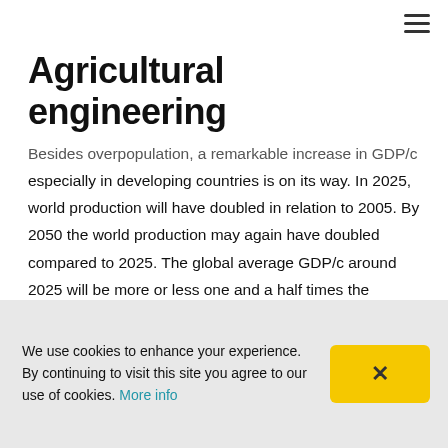Agricultural engineering
Besides overpopulation, a remarkable increase in GDP/c especially in developing countries is on its way. In 2025, world production will have doubled in relation to 2005. By 2050 the world production may again have doubled compared to 2025. The global average GDP/c around 2025 will be more or less one and a half times the current one, and in a business-as-usual scenario it may be fourfold around 2050. Jeffrey Sachs has estimated that in developing countries the GDP/c will be around $40, 000 in 2050, which is the same as the USA GDP/c in
We use cookies to enhance your experience. By continuing to visit this site you agree to our use of cookies. More info